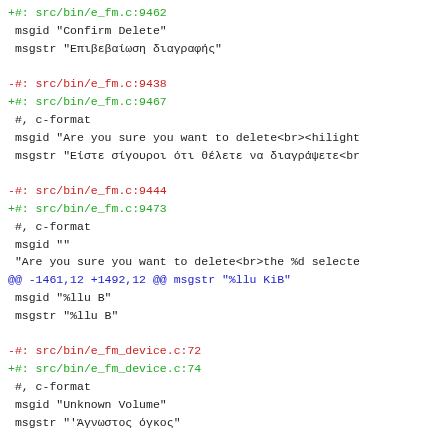+#: src/bin/e_fm.c:9462
 msgid "Confirm Delete"
 msgstr "Επιβεβαίωση διαγραφής"

-#: src/bin/e_fm.c:9438
+#: src/bin/e_fm.c:9467
 #, c-format
 msgid "Are you sure you want to delete<br><hilight
 msgstr "Είστε σίγουροι ότι θέλετε να διαγράψετε<br

-#: src/bin/e_fm.c:9444
+#: src/bin/e_fm.c:9473
 #, c-format
 msgid ""
 "Are you sure you want to delete<br>the %d selecte
@@ -1461,12 +1492,12 @@ msgstr "%llu KiB"
 msgid "%llu B"
 msgstr "%llu B"

-#: src/bin/e_fm_device.c:72
+#: src/bin/e_fm_device.c:74
 #, c-format
 msgid "Unknown Volume"
 msgstr "'Άγνωστος όγκος"

-#: src/bin/e_fm_device.c:324
+#: src/bin/e_fm_device.c:326
 msgid "Removable Device"
 msgstr "Αφαιρούμενη συσκευή"